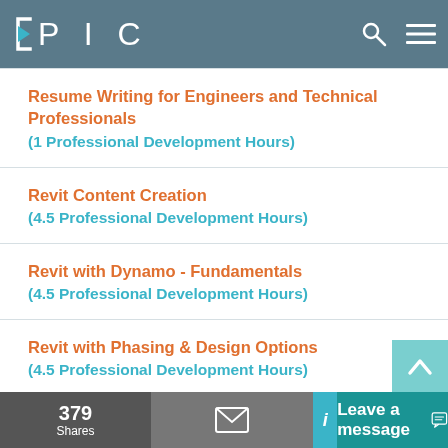EPIC
Resume Writing for Engineers and Technical Professionals
(1 Professional Development Hours)
Revit Content Creation
(4.5 Professional Development Hours)
Revit with Dynamo - Fundamentals
(4.5 Professional Development Hours)
Revit with Phasing & Design Options
(4.5 Professional Development Hours)
Should we Adopt BIM?
379 Shares   Leave a message